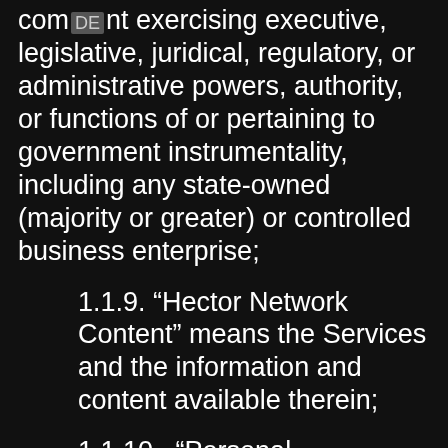com nt exercising executive, legislative, juridical, regulatory, or administrative powers, authority, or functions of or pertaining to government instrumentality, including any state-owned (majority or greater) or controlled business enterprise;
1.1.9. “Hector Network Content” means the Services and the information and content available therein;
1.1.10.  “Personal Information” means any information that allows us to identify you or any other individual;
1.1.11.  “Prohibited Jurisdictions” means any state, country, territory or other jurisdiction where your use of the Services would be illegal or